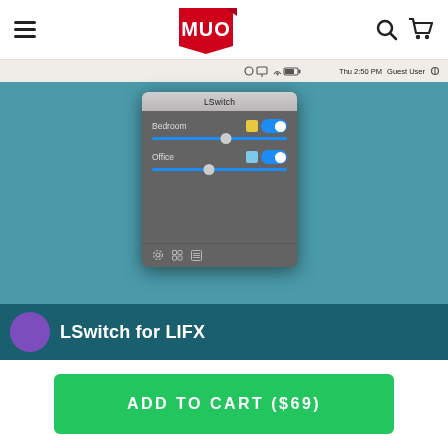MUO
[Figure (screenshot): macOS screenshot showing LSwitch app popup with Bedroom and Office light controls, each with color swatches, toggle switches, and brightness sliders, on a teal desktop background]
LSwitch for LIFX
ADD TO CART ($69)